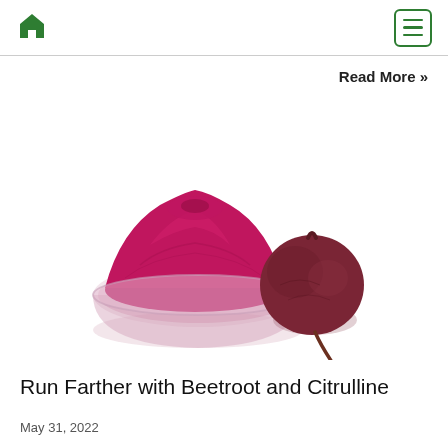Home | Menu
Read More »
[Figure (photo): A glass bowl filled with vibrant magenta-pink beetroot powder with a whole raw beetroot beside it on a white background]
Run Farther with Beetroot and Citrulline
May 31, 2022